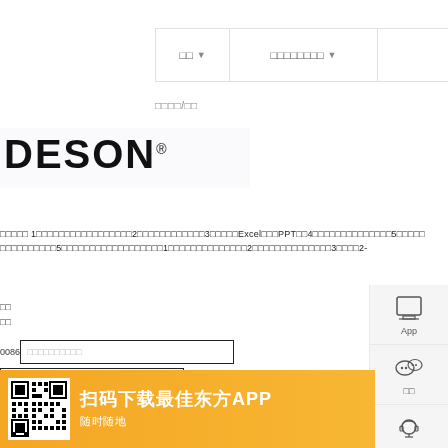□□ ▼  □□□□□□□□ ▼
□□□□/□□
[Figure (logo): DESON brand logo in bold black text with registered trademark symbol]
□□□□□ 1□□□□□□□□□□□□□□□□□2□□□□□□□□□□□□3□□□□□Excel□□□PPT□□4□□□□□□□□□□□□□□5□□□□□□□□□□□□□□□5□□□□□□□□□□□□□□□□□□1□□□□□□□□□□□□□□2□□□□□□□□□□□□□□3□□□□2-
□□
□□
0086 □□□□□□□□□□
□□□□□□□□
□□□□□
□/□□
□□□□□□□□□
[Figure (screenshot): Right sidebar with App download icon, WeChat icon with label, and customer service headset icon with label]
[Figure (infographic): Bottom orange banner with QR code and text 扫码下载最佳东方APP 随时随地]